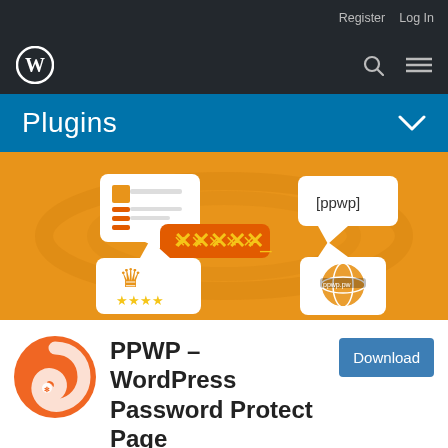Register  Log In
[Figure (logo): WordPress logo (W in circle) in dark navigation bar with search and menu icons]
Plugins
[Figure (illustration): Orange background hero illustration showing plugin icons: a content card, a [ppwp] speech bubble, a password field with asterisks, a crown with stars, and a globe icon]
[Figure (logo): PPWP plugin orange circular logo with swirl design]
PPWP – WordPress Password Protect Page
Download